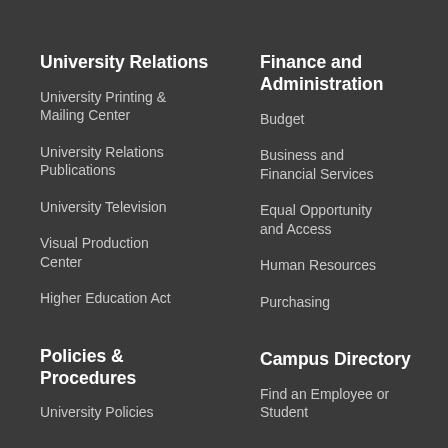University Relations
University Printing & Mailing Center
University Relations Publications
University Television
Visual Production Center
Higher Education Act
Policies & Procedures
University Policies
Finance and Administration
Budget
Business and Financial Services
Equal Opportunity and Access
Human Resources
Purchasing
Campus Directory
Find an Employee or Student